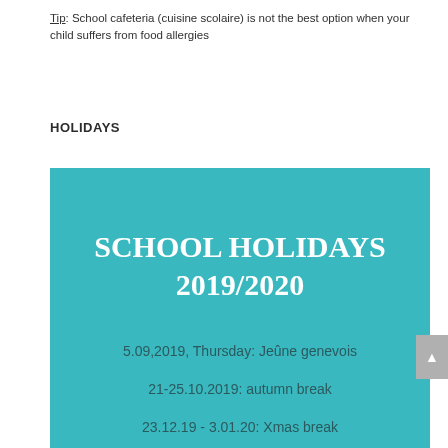Tip: School cafeteria (cuisine scolaire) is not the best option when your child suffers from food allergies
HOLIDAYS
[Figure (infographic): Teal/turquoise box containing school holidays schedule for 2019/2020 with title 'SCHOOL HOLIDAYS 2019/2020' and holiday dates listed below]
5.09,2019, Thursday: Jeûne genevois
21-25.10.2019: autumn break
23.12.19 - 3.01.20: Xmas break